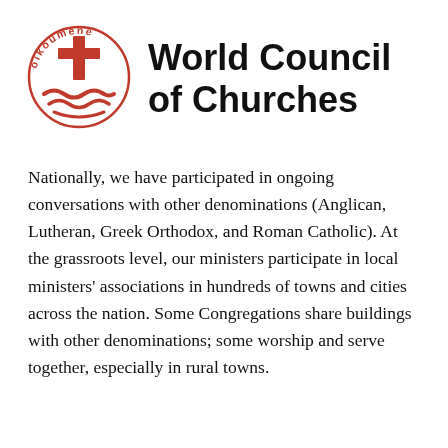[Figure (logo): World Council of Churches logo: circular red text 'oikoumene' around a red cross and boat symbol]
World Council of Churches
Nationally, we have participated in ongoing conversations with other denominations (Anglican, Lutheran, Greek Orthodox, and Roman Catholic). At the grassroots level, our ministers participate in local ministers' associations in hundreds of towns and cities across the nation. Some Congregations share buildings with other denominations; some worship and serve together, especially in rural towns.